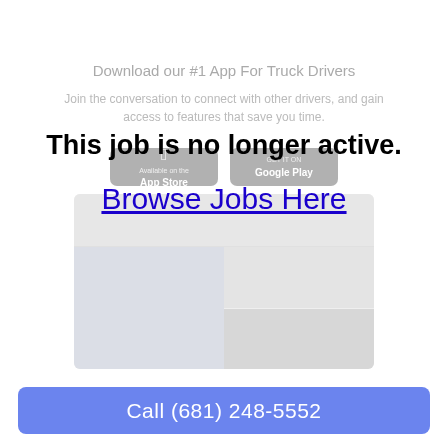Download our #1 App For Truck Drivers
Join the conversation to connect with other drivers, and gain access to features that save you time.
This job is no longer active.
Browse Jobs Here
[Figure (screenshot): App store buttons (App Store and Google Play) and mobile app screenshot showing the truck drivers app interface with map and photo content]
Call (681) 248-5552